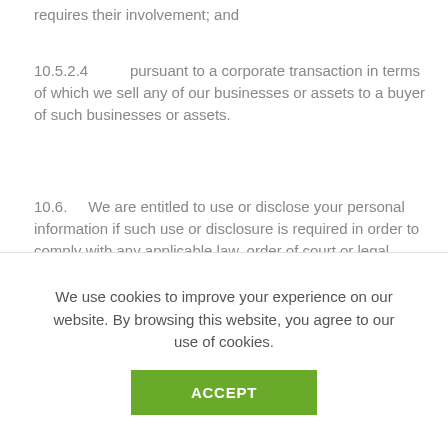requires their involvement; and
10.5.2.4     pursuant to a corporate transaction in terms of which we sell any of our businesses or assets to a buyer of such businesses or assets.
10.6.    We are entitled to use or disclose your personal information if such use or disclosure is required in order to comply with any applicable law, order of court or legal process served on us, or to protect and defend our rights or property.
10.7.    We will ensure that all of our employees, third party service providers, divisions, affiliates and partners (including
We use cookies to improve your experience on our website. By browsing this website, you agree to our use of cookies.